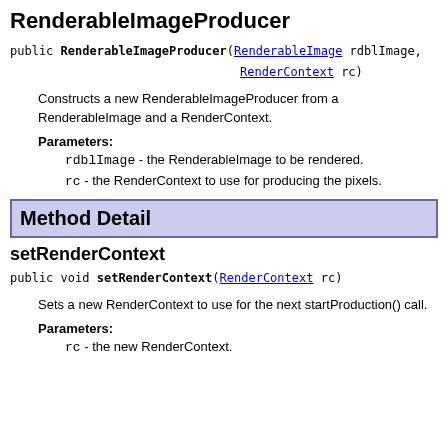RenderableImageProducer
public RenderableImageProducer(RenderableImage rdblImage, RenderContext rc)
Constructs a new RenderableImageProducer from a RenderableImage and a RenderContext.
Parameters:
rdblImage - the RenderableImage to be rendered.
rc - the RenderContext to use for producing the pixels.
Method Detail
setRenderContext
public void setRenderContext(RenderContext rc)
Sets a new RenderContext to use for the next startProduction() call.
Parameters:
rc - the new RenderContext.